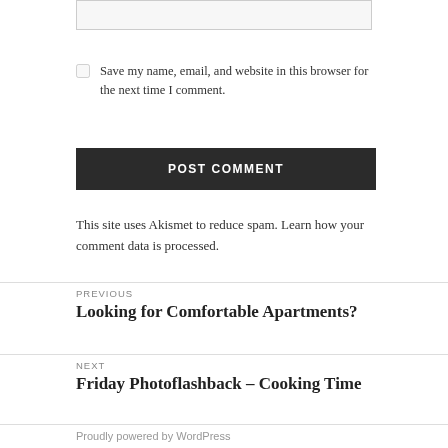Save my name, email, and website in this browser for the next time I comment.
POST COMMENT
This site uses Akismet to reduce spam. Learn how your comment data is processed.
PREVIOUS
Looking for Comfortable Apartments?
NEXT
Friday Photoflashback – Cooking Time
Proudly powered by WordPress